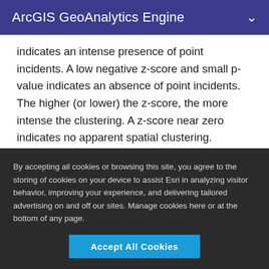ArcGIS GeoAnalytics Engine
indicates an intense presence of point incidents. A low negative z-score and small p-value indicates an absence of point incidents. The higher (or lower) the z-score, the more intense the clustering. A z-score near zero indicates no apparent spatial clustering.
The z-score is based on the randomization null hypothesis computation.
By accepting all cookies or browsing this site, you agree to the storing of cookies on your device to assist Esri in analyzing visitor behavior, improving your experience, and delivering tailored advertising on and off our sites. Manage cookies here or at the bottom of any page.
Accept All Cookies